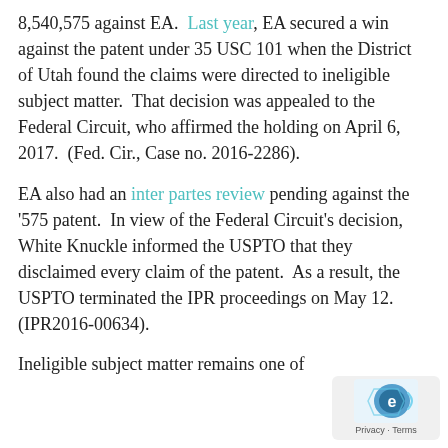8,540,575 against EA.  Last year, EA secured a win against the patent under 35 USC 101 when the District of Utah found the claims were directed to ineligible subject matter.  That decision was appealed to the Federal Circuit, who affirmed the holding on April 6, 2017.  (Fed. Cir., Case no. 2016-2286).
EA also had an inter partes review pending against the '575 patent.  In view of the Federal Circuit's decision, White Knuckle informed the USPTO that they disclaimed every claim of the patent.  As a result, the USPTO terminated the IPR proceedings on May 12.  (IPR2016-00634).
Ineligible subject matter remains one of